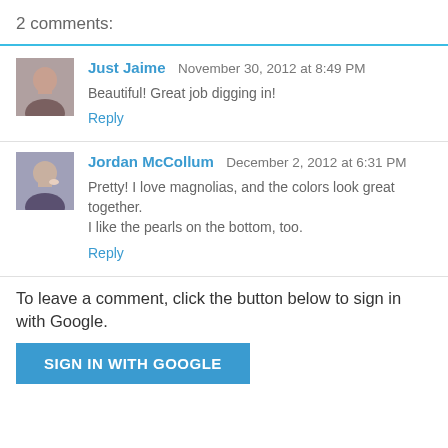2 comments:
Just Jaime  November 30, 2012 at 8:49 PM
Beautiful! Great job digging in!
Reply
Jordan McCollum  December 2, 2012 at 6:31 PM
Pretty! I love magnolias, and the colors look great together. I like the pearls on the bottom, too.
Reply
To leave a comment, click the button below to sign in with Google.
SIGN IN WITH GOOGLE